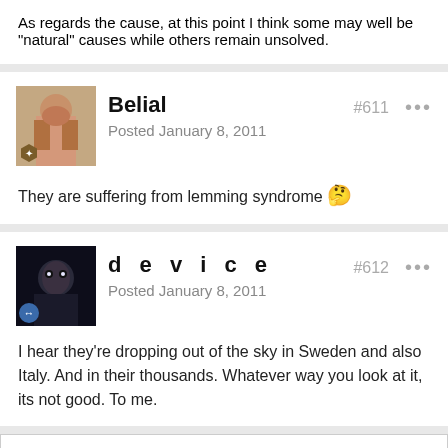As regards the cause, at this point I think some may well be "natural" causes while others remain unsolved.
Belial
Posted January 8, 2011
#611
They are suffering from lemming syndrome 🤔
d e v i c e
Posted January 8, 2011
#612
I hear they're dropping out of the sky in Sweden and also Italy. And in their thousands. Whatever way you look at it, its not good. To me.
You May Like
Sponsored Links by Taboola